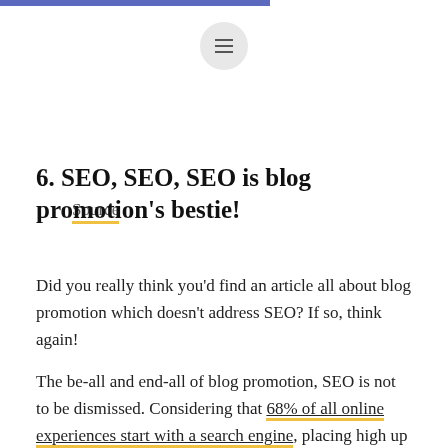[Figure (other): Hamburger menu button icon in a light gray circle]
Source
6. SEO, SEO, SEO is blog promotion's bestie!
Did you really think you'd find an article all about blog promotion which doesn't address SEO? If so, think again!
The be-all and end-all of blog promotion, SEO is not to be dismissed. Considering that 68% of all online experiences start with a search engine, placing high up could be make or break when it